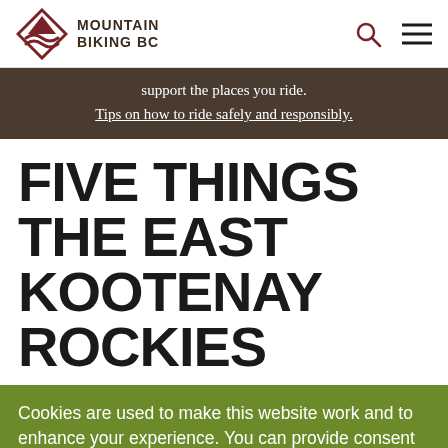MOUNTAIN BIKING BC
support the places you ride.
Tips on how to ride safely and responsibly.
FIVE THINGS THE EAST KOOTENAY ROCKIES
Cookies are used to make this website work and to enhance your experience. You can provide consent by clicking the "I Accept" button.
✓ I ACCEPT    MANAGE COOKIES